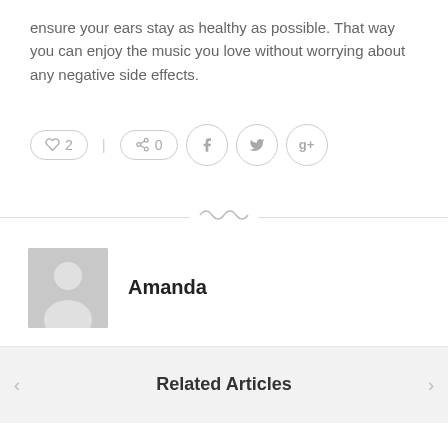ensure your ears stay as healthy as possible. That way you can enjoy the music you love without worrying about any negative side effects.
[Figure (infographic): Social sharing bar with like button showing count 2, share button showing count 0, and social media icon buttons for Facebook, Twitter, and Google+]
[Figure (illustration): Decorative ornament divider line with swirl design in center]
[Figure (photo): Generic grey avatar/profile placeholder image showing silhouette of a person]
Amanda
Related Articles